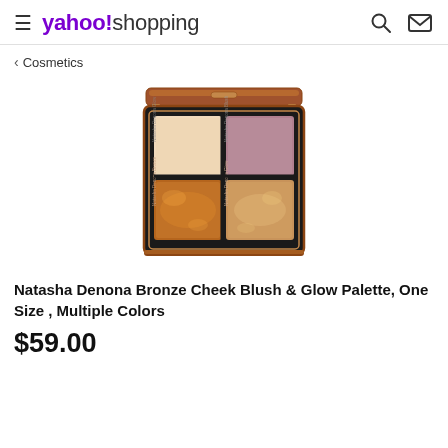yahoo!shopping
< Cosmetics
[Figure (photo): Natasha Denona Bronze Cheek Blush & Glow Palette open compact showing four color pans: top-left light beige/champagne, top-right mauve/dusty rose, bottom-left copper/bronze shimmer, bottom-right golden bronze shimmer. Rose gold and black casing.]
Natasha Denona Bronze Cheek Blush & Glow Palette, One Size , Multiple Colors
$59.00